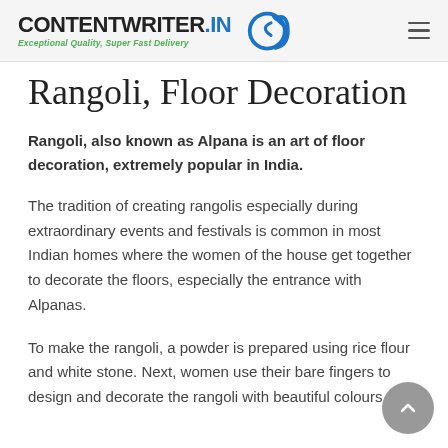CONTENTWRITER.IN — Exceptional Quality, Super Fast Delivery
Rangoli, Floor Decoration
Rangoli, also known as Alpana is an art of floor decoration, extremely popular in India.
The tradition of creating rangolis especially during extraordinary events and festivals is common in most Indian homes where the women of the house get together to decorate the floors, especially the entrance with Alpanas.
To make the rangoli, a powder is prepared using rice flour and white stone. Next, women use their bare fingers to design and decorate the rangoli with beautiful colours.